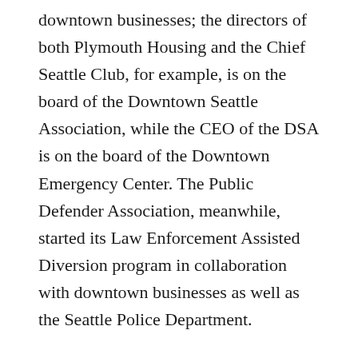downtown businesses; the directors of both Plymouth Housing and the Chief Seattle Club, for example, is on the board of the Downtown Seattle Association, while the CEO of the DSA is on the board of the Downtown Emergency Center. The Public Defender Association, meanwhile, started its Law Enforcement Assisted Diversion program in collaboration with downtown businesses as well as the Seattle Police Department.
Another indication that Compassion Seattle is primarily a business-led effort, not one emerging from the homeless advocacy community, is the list of financial backers on the PAC's latest fundraising email. (Political action committees are required to list their donors as part of their reports.) The